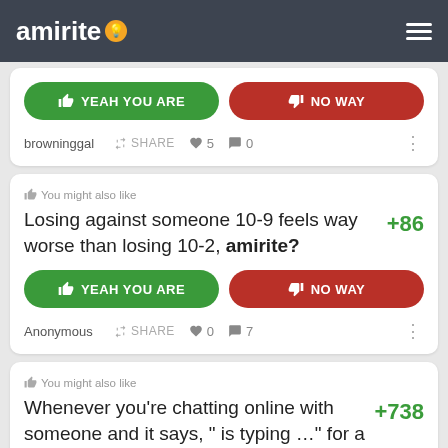amirite
browninggal  SHARE  ♥ 5  💬 0
You might also like
Losing against someone 10-9 feels way worse than losing 10-2, amirite? +86
Anonymous  SHARE  ♥ 0  💬 7
You might also like
Whenever you're chatting online with someone and it says, "  is typing …" for a bit +738